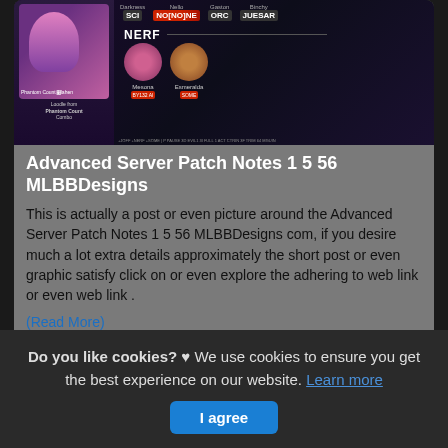[Figure (screenshot): Screenshot of a mobile game (Mobile Legends) showing patch notes interface with hero images, NERF label, and champion statistics]
Advanced Server Patch Notes 1 5 56 MLBBDesigns
This is actually a post or even picture around the Advanced Server Patch Notes 1 5 56 MLBBDesigns com, if you desire much a lot extra details approximately the short post or even graphic satisfy click on or even explore the adhering to web link or even web link .
(Read More)
Source: mlbbdesigns.com Visit Web
Do you like cookies? ♥ We use cookies to ensure you get the best experience on our website. Learn more
I agree